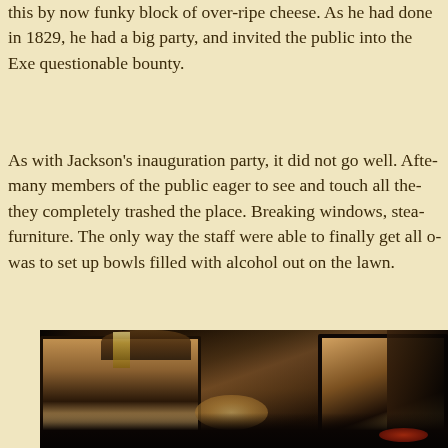this by now funky block of over-ripe cheese. As he had done in 1829, he had a big party, and invited the public into the Executive Mansion to share in his questionable bounty.
As with Jackson's inauguration party, it did not go well. After many members of the public eager to see and touch all the they completely trashed the place. Breaking windows, stealing furniture. The only way the staff were able to finally get all of them out was to set up bowls filled with alcohol out on the lawn.
[Figure (illustration): Dark illustration of an ornate interior room with large mirrors, curtains, architectural arches and candle light, suggesting a grand historic mansion or palace interior with shadowy figures.]